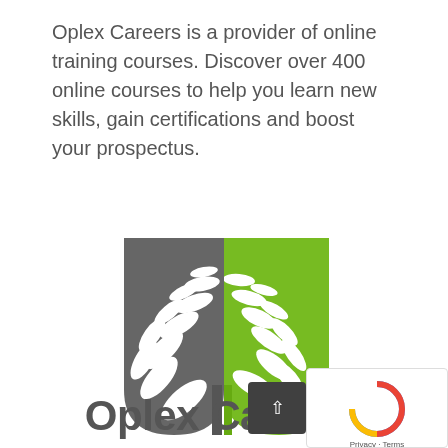Oplex Careers is a provider of online training courses. Discover over 400 online courses to help you learn new skills, gain certifications and boost your prospectus.
[Figure (logo): Oplex Careers logo: a shield shape split into grey left half and green right half, each containing white leaf/tree motifs, with 'Oplex Careers' text below in bold grey]